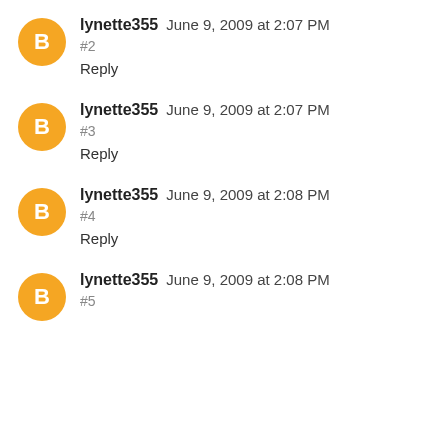lynette355 June 9, 2009 at 2:07 PM
#2
Reply
lynette355 June 9, 2009 at 2:07 PM
#3
Reply
lynette355 June 9, 2009 at 2:08 PM
#4
Reply
lynette355 June 9, 2009 at 2:08 PM
#5